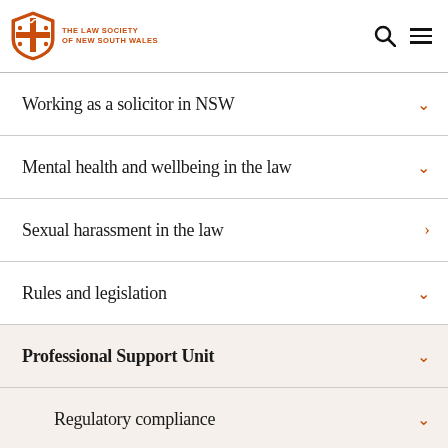The Law Society of New South Wales — logo and navigation icons
Working as a solicitor in NSW
Mental health and wellbeing in the law
Sexual harassment in the law
Rules and legislation
Professional Support Unit
Regulatory compliance
Contingency plan for sole principals